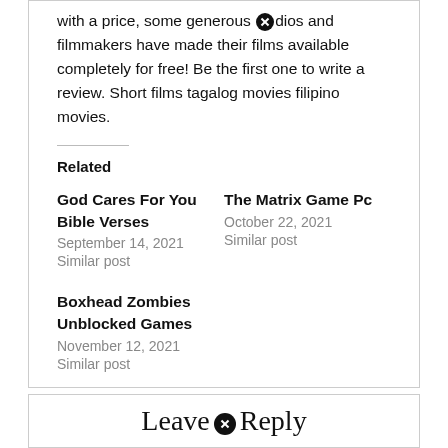with a price, some generous ⊗dios and filmmakers have made their films available completely for free! Be the first one to write a review. Short films tagalog movies filipino movies.
Related
God Cares For You Bible Verses
September 14, 2021
Similar post
The Matrix Game Pc
October 22, 2021
Similar post
Boxhead Zombies Unblocked Games
November 12, 2021
Similar post
Leave ⊗ Reply